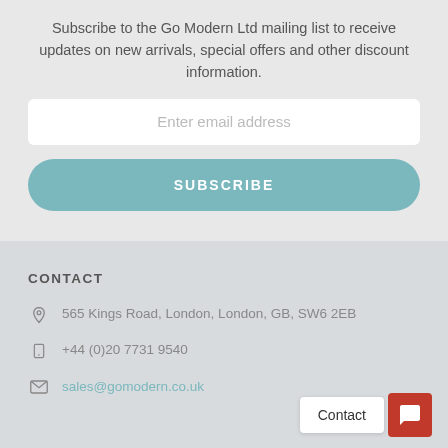Subscribe to the Go Modern Ltd mailing list to receive updates on new arrivals, special offers and other discount information.
Enter email address
SUBSCRIBE
CONTACT
565 Kings Road, London, London, GB, SW6 2EB
+44 (0)20 7731 9540
sales@gomodern.co.uk